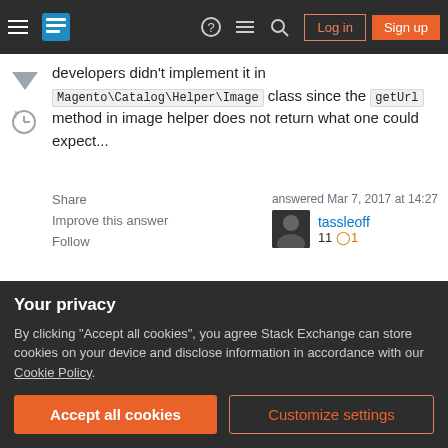Stack Exchange navigation bar with Log in and Sign up buttons
developers didn't implement it in Magento\Catalog\Helper\Image class since the getUrl method in image helper does not return what one could expect...
Share   Improve this answer   Follow   Add a comment
answered Mar 7, 2017 at 14:27  tassleoff  11  ○1
Please try this code:
Your privacy
By clicking "Accept all cookies", you agree Stack Exchange can store cookies on your device and disclose information in accordance with our Cookie Policy.
Accept all cookies   Customize settings